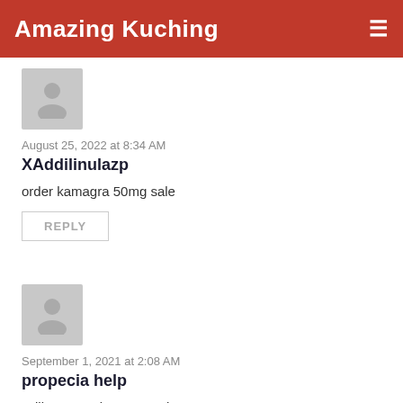Amazing Kuching
[Figure (illustration): Generic user avatar placeholder - grey silhouette of a person]
August 25, 2022 at 8:34 AM
XAddilinulazp
order kamagra 50mg sale
REPLY
[Figure (illustration): Generic user avatar placeholder - grey silhouette of a person]
September 1, 2021 at 2:08 AM
propecia help
Priligy Generico Farmacia
REPLY